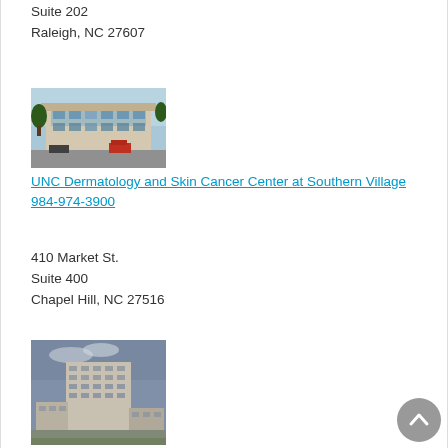Suite 202
Raleigh, NC 27607
[Figure (photo): Exterior photo of a modern medical office building with glass facade and parking lot]
UNC Dermatology and Skin Cancer Center at Southern Village
984-974-3900
410 Market St.
Suite 400
Chapel Hill, NC 27516
[Figure (photo): Exterior photo of a large hospital building complex]